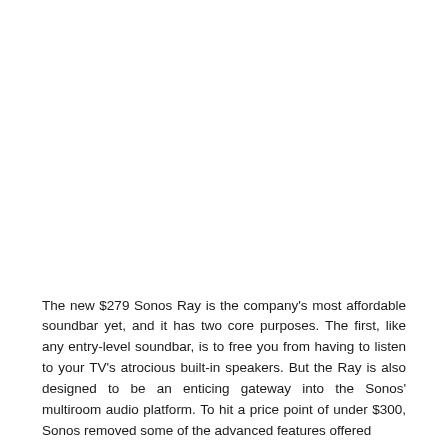The new $279 Sonos Ray is the company's most affordable soundbar yet, and it has two core purposes. The first, like any entry-level soundbar, is to free you from having to listen to your TV's atrocious built-in speakers. But the Ray is also designed to be an enticing gateway into the Sonos' multiroom audio platform. To hit a price point of under $300, Sonos removed some of the advanced features offered